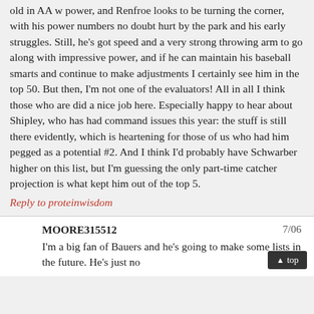old in AA w power, and Renfroe looks to be turning the corner, with his power numbers no doubt hurt by the park and his early struggles. Still, he's got speed and a very strong throwing arm to go along with impressive power, and if he can maintain his baseball smarts and continue to make adjustments I certainly see him in the top 50. But then, I'm not one of the evaluators! All in all I think those who are did a nice job here. Especially happy to hear about Shipley, who has had command issues this year: the stuff is still there evidently, which is heartening for those of us who had him pegged as a potential #2. And I think I'd probably have Schwarber higher on this list, but I'm guessing the only part-time catcher projection is what kept him out of the top 5.
Reply to proteinwisdom
MOORE315512  7/06
I'm a big fan of Bauers and he's going to make some lists in the future. He's just no